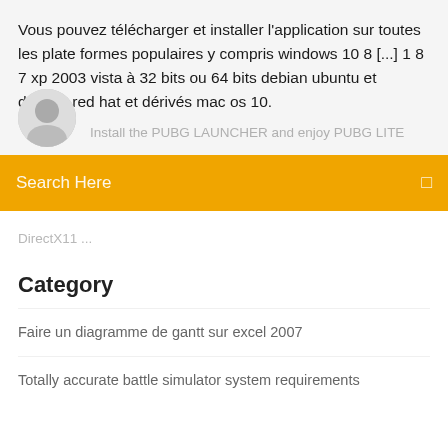Vous pouvez télécharger et installer l'application sur toutes les plate formes populaires y compris windows 10 8 [...] 1 8 7 xp 2003 vista à 32 bits ou 64 bits debian ubuntu et dérivés red hat et dérivés mac os 10.
Install the PUBG LAUNCHER and enjoy PUBG LITE
Search Here
DirectX11 ...
Category
Faire un diagramme de gantt sur excel 2007
Totally accurate battle simulator system requirements